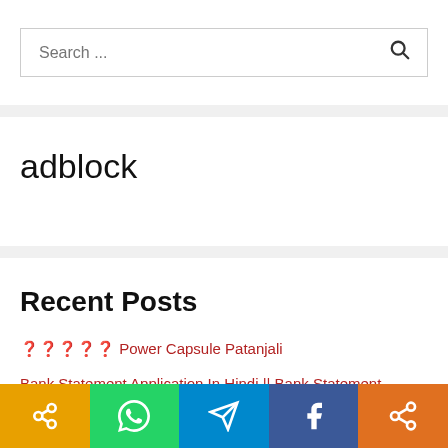Search ...
adblock
Recent Posts
🔴🔴🔴🔴🔴 Power Capsule Patanjali
Bank Statement Application In Hindi || Bank Statement Nikalne Ke
Social share bar: link, whatsapp, telegram, facebook, share